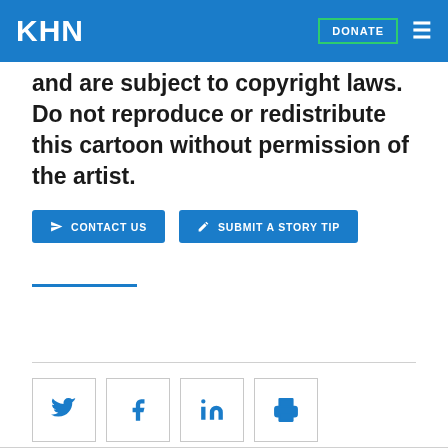KHN
and are subject to copyright laws. Do not reproduce or redistribute this cartoon without permission of the artist.
CONTACT US
SUBMIT A STORY TIP
REPUBLISH THIS STORY